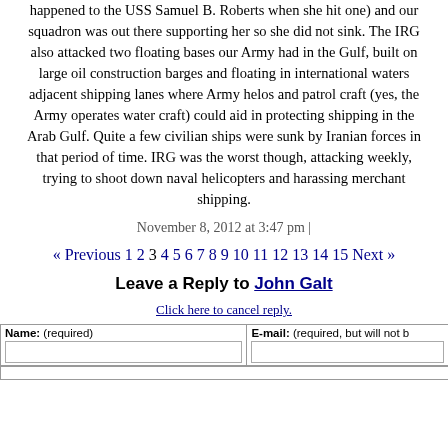happened to the USS Samuel B. Roberts when she hit one) and our squadron was out there supporting her so she did not sink. The IRG also attacked two floating bases our Army had in the Gulf, built on large oil construction barges and floating in international waters adjacent shipping lanes where Army helos and patrol craft (yes, the Army operates water craft) could aid in protecting shipping in the Arab Gulf. Quite a few civilian ships were sunk by Iranian forces in that period of time. IRG was the worst though, attacking weekly, trying to shoot down naval helicopters and harassing merchant shipping.
November 8, 2012 at 3:47 pm |
« Previous 1 2 3 4 5 6 7 8 9 10 11 12 13 14 15 Next »
Leave a Reply to John Galt
Click here to cancel reply.
| Name: (required) | E-mail: (required, but will not be published) |
| --- | --- |
|  |